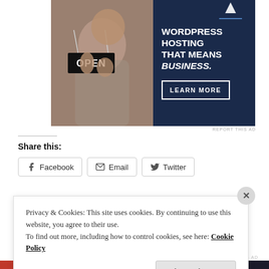[Figure (screenshot): Advertisement banner for WordPress Hosting featuring a woman holding an OPEN sign, with text 'WORDPRESS HOSTING THAT MEANS BUSINESS.' and a 'LEARN MORE' button on a dark navy background.]
REPORT THIS AD
Share this:
Facebook
Email
Twitter
Privacy & Cookies: This site uses cookies. By continuing to use this website, you agree to their use.
To find out more, including how to control cookies, see here: Cookie Policy
Close and accept